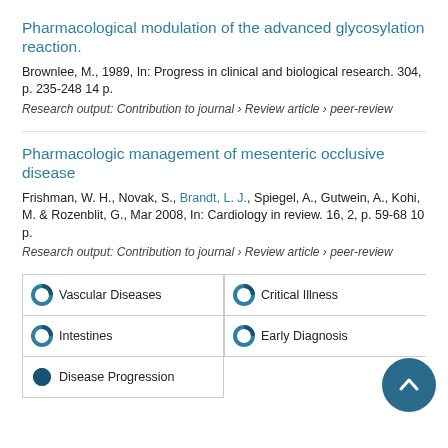Pharmacological modulation of the advanced glycosylation reaction.
Brownlee, M., 1989, In: Progress in clinical and biological research. 304, p. 235-248 14 p.
Research output: Contribution to journal › Review article › peer-review
Pharmacologic management of mesenteric occlusive disease
Frishman, W. H., Novak, S., Brandt, L. J., Spiegel, A., Gutwein, A., Kohi, M. & Rozenblit, G., Mar 2008, In: Cardiology in review. 16, 2, p. 59-68 10 p.
Research output: Contribution to journal › Review article › peer-review
| Vascular Diseases | Critical Illness |
| Intestines | Early Diagnosis |
| Disease Progression |  |